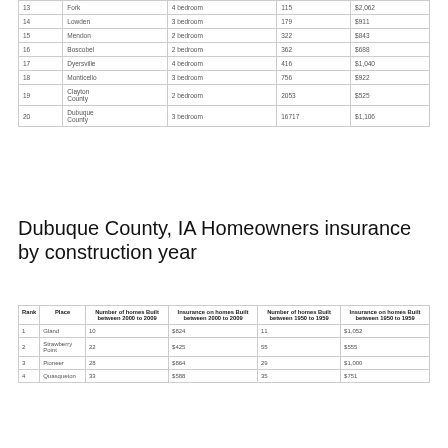| Rank | Place | Type | Count | Insurance |
| --- | --- | --- | --- | --- |
| 13 | Fork | 4 bedroom | 115 | $2,062 |
| 14 | Lowden | 3 bedroom | 179 | $911 |
| 15 | Mendon | 2 bedroom | 322 | $843 |
| 16 | Boscobel | 2 bedroom | 362 | $688 |
| 17 | Dyersville | 4 bedroom | 416 | $1,040 |
| 18 | Monticello | 3 bedroom | 756 | $922 |
| 19 | Clayton County | 2 bedroom | 2053 | $525 |
| 20 | Dubuque County | 3 bedroom | 16717 | $1,106 |
Dubuque County, IA Homeowners insurance by construction year
| Rank | Place | Number of homes Built between 2000 to 2009 | Insurance on homes Built between 2000 to 2009 | Number of homes Built between 1950 to 1959 | Insurance on homes Built between 1950 to 1959 |
| --- | --- | --- | --- | --- | --- |
| 1 | Gland | 10 | $824 | 11 | $1,052 |
| 2 | Strawberry Point | 22 | $425 | 55 | $555 |
| 3 | Pioneer | 28 | $864 | 29 | $1,000 |
| 4 | Quasqueton | 33 | $588 | 35 | $751 |